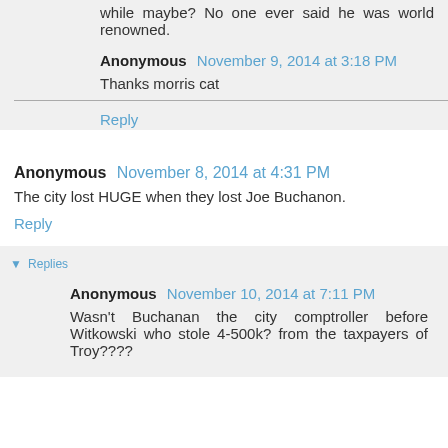while maybe? No one ever said he was world renowned.
Anonymous November 9, 2014 at 3:18 PM
Thanks morris cat
Reply
Anonymous November 8, 2014 at 4:31 PM
The city lost HUGE when they lost Joe Buchanon.
Reply
Replies
Anonymous November 10, 2014 at 7:11 PM
Wasn't Buchanan the city comptroller before Witkowski who stole 4-500k? from the taxpayers of Troy????